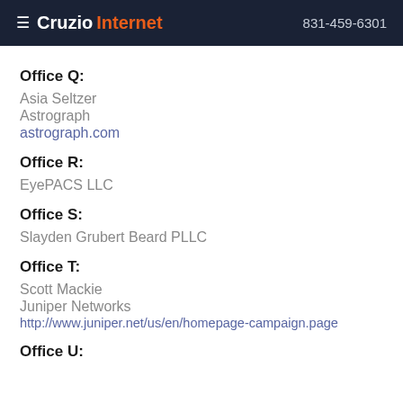≡ Cruzio Internet  831-459-6301
Office Q:
Asia Seltzer
Astrograph
astrograph.com
Office R:
EyePACS LLC
Office S:
Slayden Grubert Beard PLLC
Office T:
Scott Mackie
Juniper Networks
http://www.juniper.net/us/en/homepage-campaign.page
Office U: